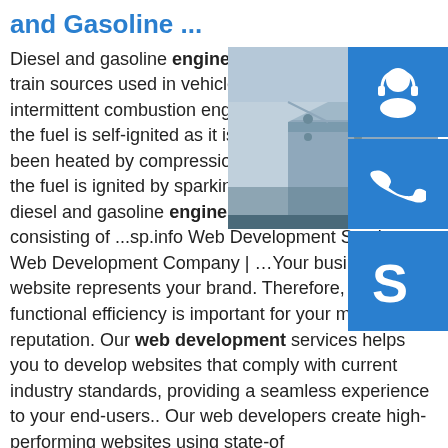and Gasoline ...
[Figure (photo): Photo of blue/grey metal industrial surface with bolts, alongside three blue icon boxes: headset/support, phone, and Skype logo]
Diesel and gasoline engines are the major power train sources used in vehicles. They are both internal, intermittent combustion engines. In diesel engines, the fuel is self-ignited as it is injected into air that has been heated by compression. In gasoline engines, the fuel is ignited by sparking-pl... The fuels used in diesel and gasoline engines also... with diesel fuel consisting of ...sp.info Web Development Services - Web Development Company | …Your business website represents your brand. Therefore, its functional efficiency is important for your market reputation. Our web development services helps you to develop websites that comply with current industry standards, providing a seamless experience to your end-users.. Our web developers create high-performing websites using state-of